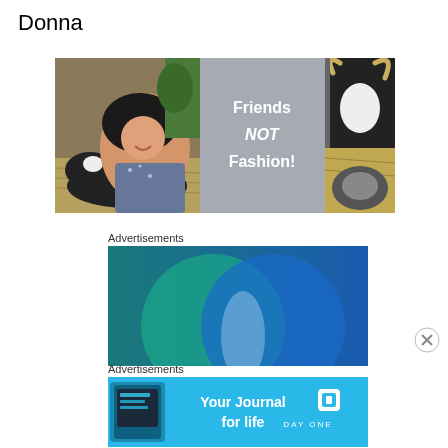Donna
[Figure (photo): Composite image: a young woman with dark hair hugging a black and white calf lying on hay on the left; a grey overlay panel in the center with white text reading 'Friends NOT Fashion!'; a close-up photo of a black and white cow on the right.]
Advertisements
[Figure (photo): Advertisement banner with a blue and teal gradient background showing two overlapping circles (Venn diagram style), partially cropped at the bottom.]
[Figure (other): Close (X) button circle icon]
Advertisements
[Figure (photo): Advertisement banner for DayOne app: light blue background, image of a phone on the left, bold text 'Your Journal for life' in the center, DayOne logo and brand name on the right.]